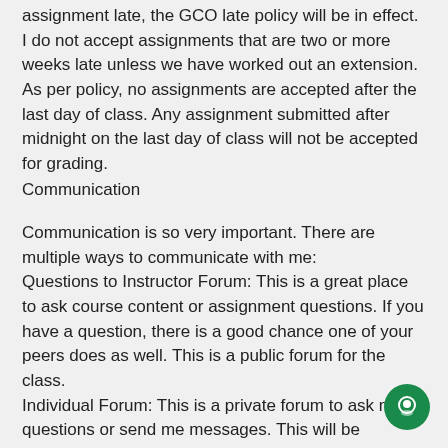assignment late, the GCO late policy will be in effect. I do not accept assignments that are two or more weeks late unless we have worked out an extension. As per policy, no assignments are accepted after the last day of class. Any assignment submitted after midnight on the last day of class will not be accepted for grading.
Communication
Communication is so very important. There are multiple ways to communicate with me:
Questions to Instructor Forum: This is a great place to ask course content or assignment questions. If you have a question, there is a good chance one of your peers does as well. This is a public forum for the class.
Individual Forum: This is a private forum to ask me questions or send me messages. This will be checked at least once every 24 hours.
Benchmark – Patient's Spiritual Needs: Case Analysis – Rubric
Collapse All